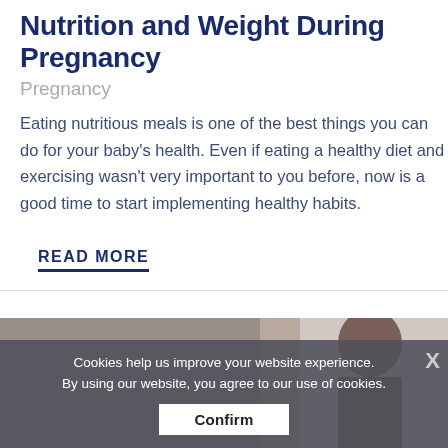Nutrition and Weight During Pregnancy
Pregnancy
Eating nutritious meals is one of the best things you can do for your baby's health. Even if eating a healthy diet and exercising wasn't very important to you before, now is a good time to start implementing healthy habits.
READ MORE
[Figure (photo): Photo strip showing a person, partially visible, with another image at the right edge]
Cookies help us improve your website experience. By using our website, you agree to our use of cookies. Confirm